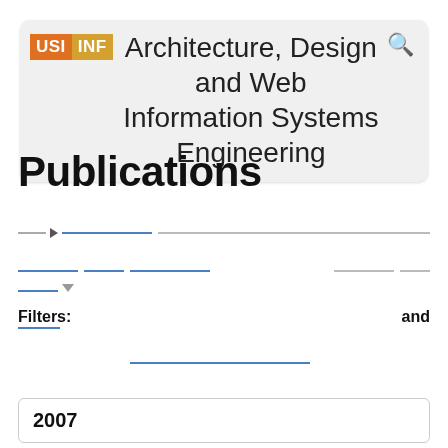USI INF Architecture, Design and Web Information Systems Engineering
Publications
Filters: and
2007